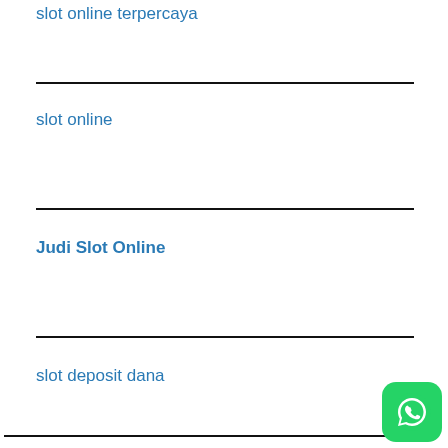slot online terpercaya
slot online
Judi Slot Online
slot deposit dana
[Figure (logo): WhatsApp icon button, green rounded square with white phone handset icon]